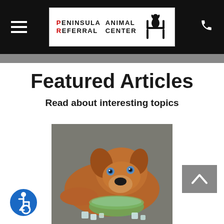Peninsula Animal Referral Center
Featured Articles
Read about interesting topics
[Figure (photo): A brown dog resting its head near a green glass bowl with ice cubes on a gray surface]